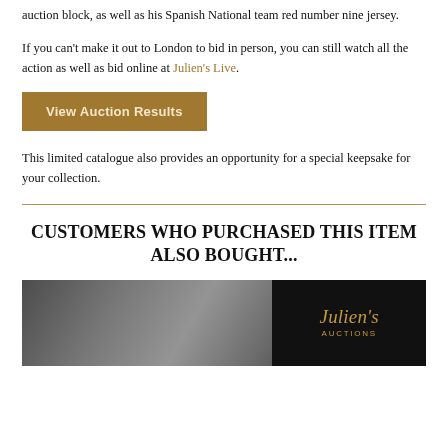auction block, as well as his Spanish National team red number nine jersey.
If you can't make it out to London to bid in person, you can still watch all the action as well as bid online at Julien's Live.
View Auction Results
This limited catalogue also provides an opportunity for a special keepsake for your collection.
CUSTOMERS WHO PURCHASED THIS ITEM ALSO BOUGHT...
[Figure (photo): Grayscale photo of a person with Julien's Auctions logo overlay on dark background]